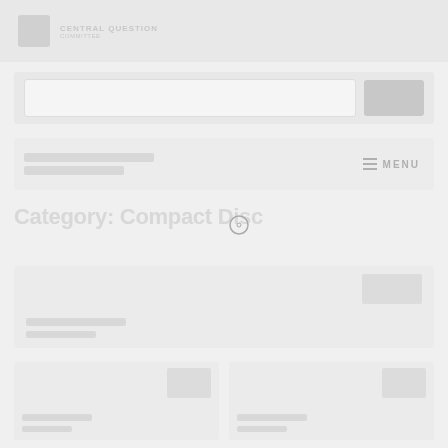Central Question Committee
[Figure (screenshot): Search bar input field with search button on the right]
[Figure (screenshot): Navigation bar with category pills and MENU button on right]
Category: Compact Disc
[Figure (screenshot): Loading spinner circle]
[Figure (screenshot): Product card placeholder at top]
[Figure (screenshot): Two small product card placeholders at bottom]